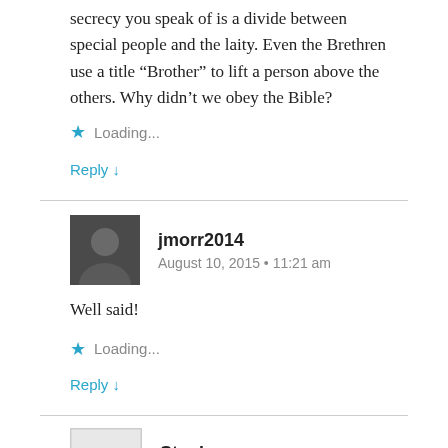secrecy you speak of is a divide between special people and the laity. Even the Brethren use a title “Brother” to lift a person above the others. Why didn’t we obey the Bible?
Loading...
Reply ↓
jmorr2014
August 10, 2015 • 11:21 am
Well said!
Loading...
Reply ↓
Stephen
August 10, 2015 • 12:15 pm